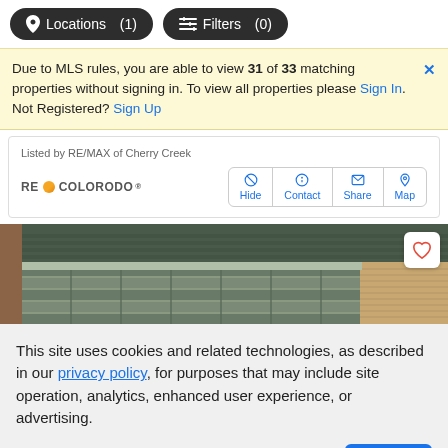Locations (1)  Filters (0)
Due to MLS rules, you are able to view 31 of 33 matching properties without signing in. To view all properties please Sign In. Not Registered? Sign Up
Listed by RE/MAX of Cherry Creek
RE COLORADO  Hide  Contact  Share  Map
[Figure (photo): Exterior photo of a house showing roof, garage, and upper facade]
This site uses cookies and related technologies, as described in our privacy policy, for purposes that may include site operation, analytics, enhanced user experience, or advertising.
Manage Preferences  Accept